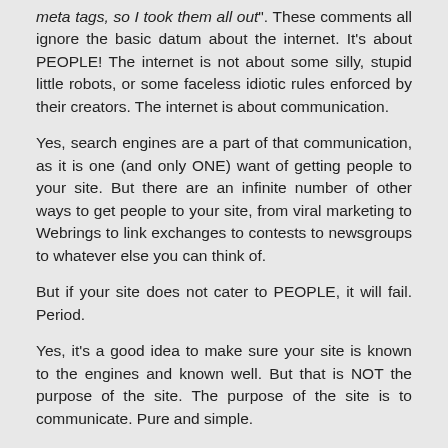meta tags, so I took them all out". These comments all ignore the basic datum about the internet. It's about PEOPLE! The internet is not about some silly, stupid little robots, or some faceless idiotic rules enforced by their creators. The internet is about communication.
Yes, search engines are a part of that communication, as it is one (and only ONE) want of getting people to your site. But there are an infinite number of other ways to get people to your site, from viral marketing to Webrings to link exchanges to contests to newsgroups to whatever else you can think of.
But if your site does not cater to PEOPLE, it will fail. Period.
Yes, it's a good idea to make sure your site is known to the engines and known well. But that is NOT the purpose of the site. The purpose of the site is to communicate. Pure and simple.
Google's customers are advertisers; the searchers are the